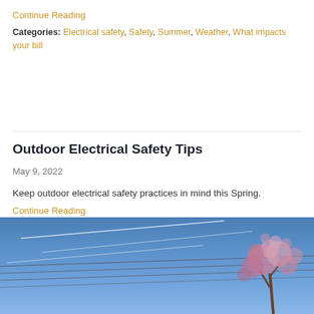Continue Reading
Categories: Electrical safety, Safety, Summer, Weather, What impacts your bill
Outdoor Electrical Safety Tips
May 9, 2022
Keep outdoor electrical safety practices in mind this Spring.
Continue Reading
[Figure (photo): Photo of blue sky with power lines and a flowering tree with pink blossoms]